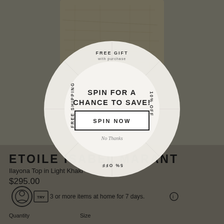[Figure (screenshot): E-commerce product page for Etoile Isabel Marant Ilayona Top in Light Khaki, with a spin-to-win promotional modal overlay. The background shows a khaki/olive lace fabric top on a model, partially obscured by a circular spin wheel widget showing 'FREE GIFT with purchase', 'FREE SHIPPING', '10% OFF', '5% OFF' segments, with center text 'SPIN FOR A CHANCE TO SAVE!' and a 'SPIN NOW' button.]
ETOILE ISABEL MARANT
Ilayona Top in Light Khaki
$295.00
3 or more items at home for 7 days.
Quantity
Size